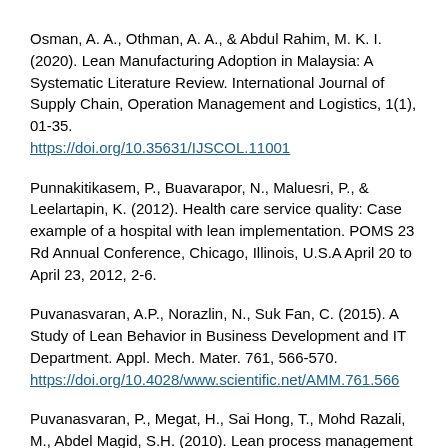Osman, A. A., Othman, A. A., & Abdul Rahim, M. K. I. (2020). Lean Manufacturing Adoption in Malaysia: A Systematic Literature Review. International Journal of Supply Chain, Operation Management and Logistics, 1(1), 01-35. https://doi.org/10.35631/IJSCOL.11001
Punnakitikasem, P., Buavarapor, N., Maluesri, P., & Leelartapin, K. (2012). Health care service quality: Case example of a hospital with lean implementation. POMS 23 Rd Annual Conference, Chicago, Illinois, U.S.A April 20 to April 23, 2012, 2-6.
Puvanasvaran, A.P., Norazlin, N., Suk Fan, C. (2015). A Study of Lean Behavior in Business Development and IT Department. Appl. Mech. Mater. 761, 566-570. https://doi.org/10.4028/www.scientific.net/AMM.761.566
Puvanasvaran, P., Megat, H., Sai Hong, T., Mohd Razali, M., Abdel Magid, S.H. (2010). Lean process management